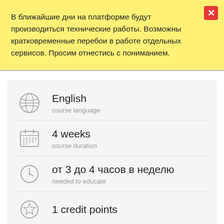В ближайшие дни на платформе будут производиться технические работы. Возможны кратковременные перебои в работе отдельных сервисов. Просим отнестись с пониманием.
English
course language
4 weeks
course duration
от 3 до 4 часов в неделю
needed to educate
1 credit points